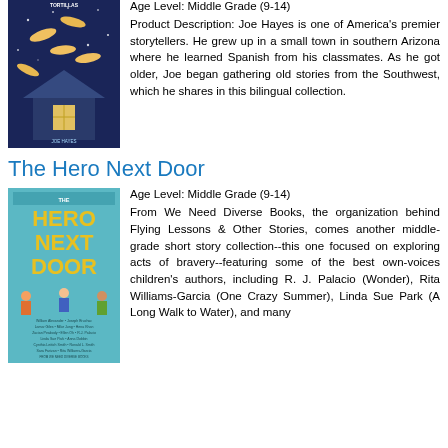Age Level: Middle Grade (9-14)
Product Description: Joe Hayes is one of America's premier storytellers. He grew up in a small town in southern Arizona where he learned Spanish from his classmates. As he got older, Joe began gathering old stories from the Southwest, which he shares in this bilingual collection.
The Hero Next Door
Age Level: Middle Grade (9-14)
From We Need Diverse Books, the organization behind Flying Lessons & Other Stories, comes another middle-grade short story collection--this one focused on exploring acts of bravery--featuring some of the best own-voices children's authors, including R. J. Palacio (Wonder), Rita Williams-Garcia (One Crazy Summer), Linda Sue Park (A Long Walk to Water), and many